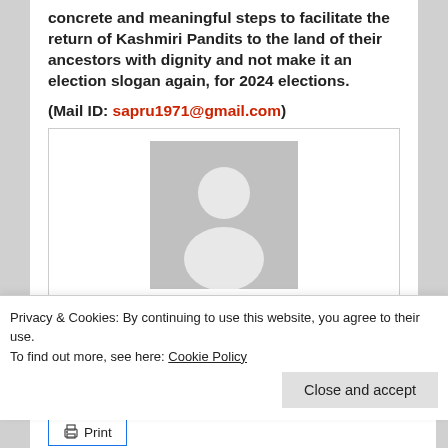concrete and meaningful steps to facilitate the return of Kashmiri Pandits to the land of their ancestors with dignity and not make it an election slogan again, for 2024 elections.
(Mail ID: sapru1971@gmail.com)
[Figure (photo): Generic user profile placeholder image (grey silhouette of a person on grey background)]
Other View
Privacy & Cookies: By continuing to use this website, you agree to their use.
To find out more, see here: Cookie Policy
Close and accept
Print